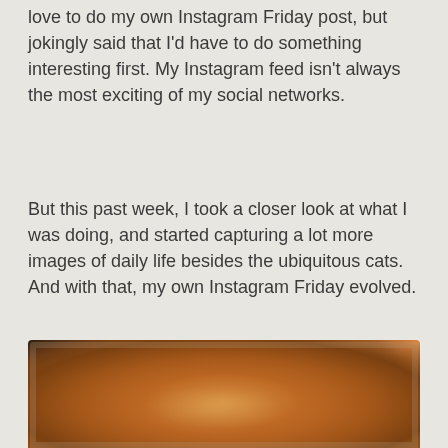love to do my own Instagram Friday post, but jokingly said that I'd have to do something interesting first. My Instagram feed isn't always the most exciting of my social networks.
But this past week, I took a closer look at what I was doing, and started capturing a lot more images of daily life besides the ubiquitous cats. And with that, my own Instagram Friday evolved.
[Figure (photo): A baked casserole or clafoutis dish in a round glass baking dish, with a golden-brown crust visible from above, sitting on a light surface.]